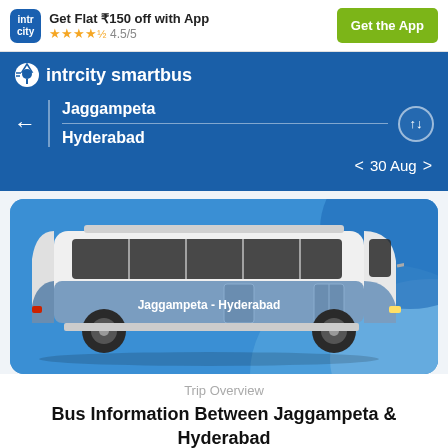[Figure (screenshot): IntrCity app top banner with logo, offer text, star rating and Get the App button]
Get Flat ₹150 off with App
★★★★½ 4.5/5
Get the App
⊕ intrcity smartbus
Jaggampeta
Hyderabad
< 30 Aug >
[Figure (illustration): Blue coach bus illustration with text 'Jaggampeta - Hyderabad' on the side, on a blue background card]
Trip Overview
Bus Information Between Jaggampeta & Hyderabad